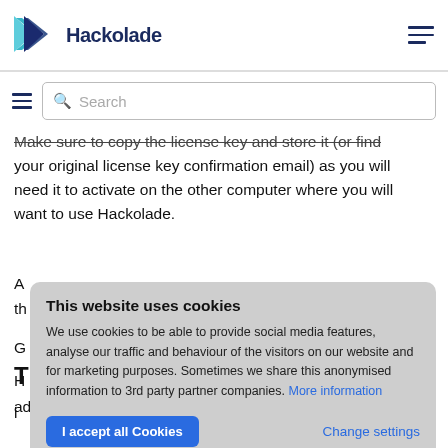[Figure (logo): Hackolade logo with teal/blue angular chevron icon and bold dark blue text 'Hackolade']
[Figure (other): Hamburger menu icon (three horizontal lines, top-right)]
[Figure (other): Search bar with hamburger icon and magnifying glass placeholder 'Search']
Make sure to copy the license key and store it (or find your original license key confirmation email) as you will need it to activate on the other computer where you will want to use Hackolade.
A...th...
G...
H...
i...
This website uses cookies
We use cookies to be able to provide social media features, analyse our traffic and behaviour of the visitors on our website and for marketing purposes. Sometimes we share this anonymised information to 3rd party partner companies. More information
I accept all Cookies    Change settings
T...
administrator may require that you enter your name in